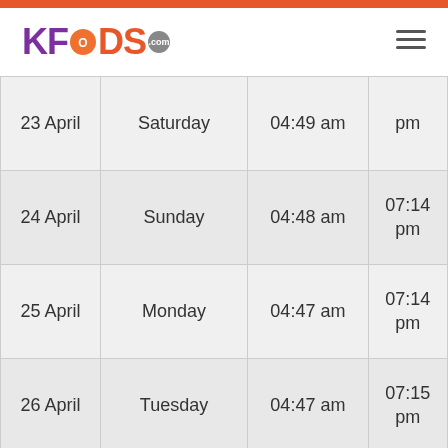[Figure (logo): KFoods.com logo with purple K and orange FOODS text, grey dot with .com]
| Date | Day | Sehri | Iftar |
| --- | --- | --- | --- |
| 23 April | Saturday | 04:49 am | pm |
| 24 April | Sunday | 04:48 am | 07:14 pm |
| 25 April | Monday | 04:47 am | 07:14 pm |
| 26 April | Tuesday | 04:47 am | 07:15 pm |
| 27 April | Wednesday | 04:46 am | 07:15 pm |
| 28 April | Thursday | 04:45 am | 07:15 pm |
| 29 April | Friday | 04:44 am | 07:16 |